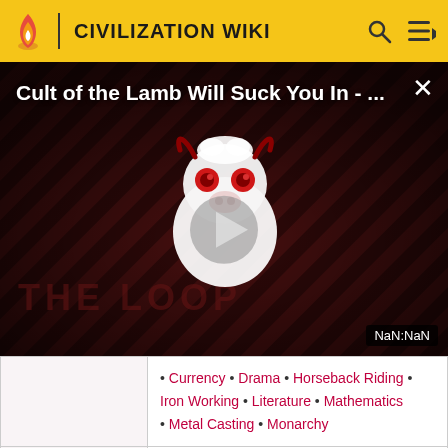CIVILIZATION WIKI
[Figure (screenshot): Video thumbnail overlay showing 'Cult of the Lamb Will Suck You In - ...' with a play button, diagonal stripe background in dark red, and 'THE LOOP' watermark. NaN:NaN badge in bottom right.]
| Era | Technologies |
| --- | --- |
|  | • Currency • Drama • Horseback Riding • Iron Working • Literature • Mathematics • Metal Casting • Monarchy |
| Medieval | Banking • Civil Service • Divine Right • Engineering • Feudalism • Guilds • Machinery • Music • Optics • Paper • |